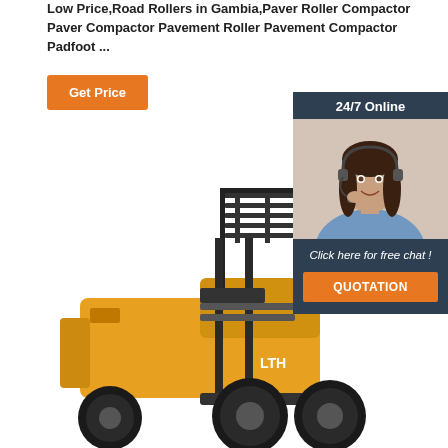Low Price,Road Rollers in Gambia,Paver Roller Compactor Paver Compactor Pavement Roller Pavement Compactor Padfoot ...
[Figure (other): Orange 'Get Price' button]
[Figure (infographic): Dark navy panel with '24/7 Online' header, photo of smiling female customer service agent with headset, italic text 'Click here for free chat !', and orange 'QUOTATION' button]
[Figure (photo): Yellow forklift truck (LTH brand) with black mast structure, photographed on white background]